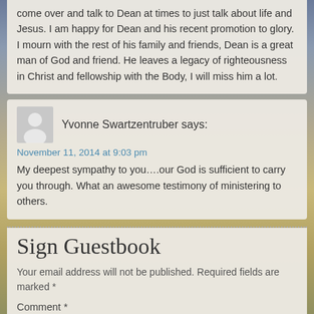come over and talk to Dean at times to just talk about life and Jesus. I am happy for Dean and his recent promotion to glory. I mourn with the rest of his family and friends, Dean is a great man of God and friend. He leaves a legacy of righteousness in Christ and fellowship with the Body, I will miss him a lot.
Yvonne Swartzentruber says:
November 11, 2014 at 9:03 pm
My deepest sympathy to you….our God is sufficient to carry you through. What an awesome testimony of ministering to others.
Sign Guestbook
Your email address will not be published. Required fields are marked *
Comment *